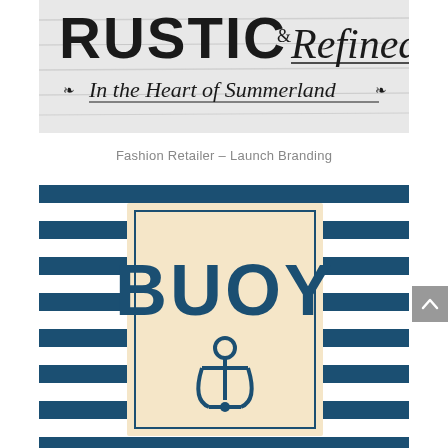[Figure (illustration): Rustic & Refined logo sign on a white wood plank background. Large bold text 'RUSTIC' and script 'Refined' with tagline 'In the Heart of Summerland' with decorative flourishes.]
Fashion Retailer – Launch Branding
[Figure (illustration): Nautical themed branding image with navy blue and white horizontal stripes background. A cream/beige card in the center displays the word 'BUOY' in large bold navy letters with an anchor icon below it.]